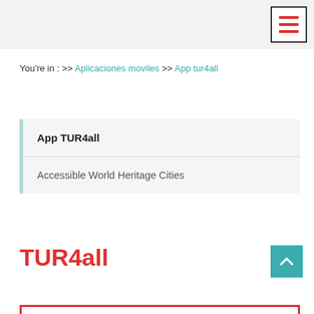[hamburger menu icon]
You're in : >> Aplicaciones moviles >> App tur4all
App TUR4all
Accessible World Heritage Cities
TUR4all